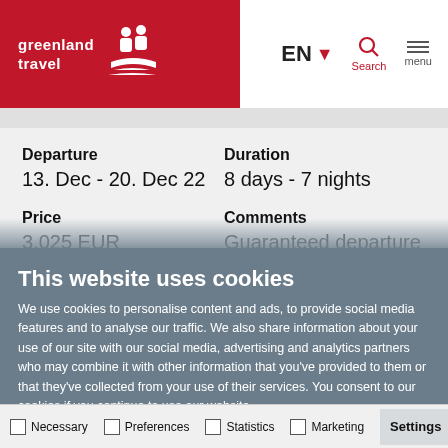greenland travel
Departure
13. Dec - 20. Dec 22
Duration
8 days - 7 nights
Price
3,025 EUR
Comments
Guaranteed departure
This website uses cookies
We use cookies to personalise content and ads, to provide social media features and to analyse our traffic. We also share information about your use of our site with our social media, advertising and analytics partners who may combine it with other information that you've provided to them or that they've collected from your use of their services. You consent to our cookies if you continue to use our website.
Allow all cookies
Allow selection
Use necessary cookies only
Necessary   Preferences   Statistics   Marketing   Settings